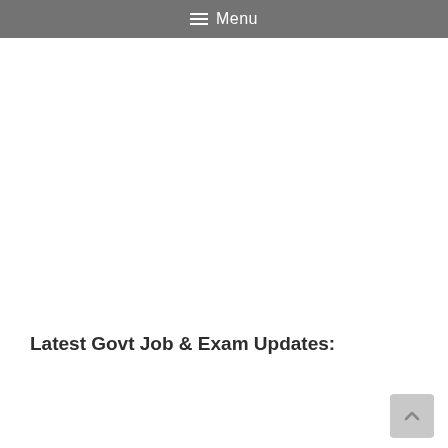☰ Menu
Latest Govt Job & Exam Updates:
View Full List …